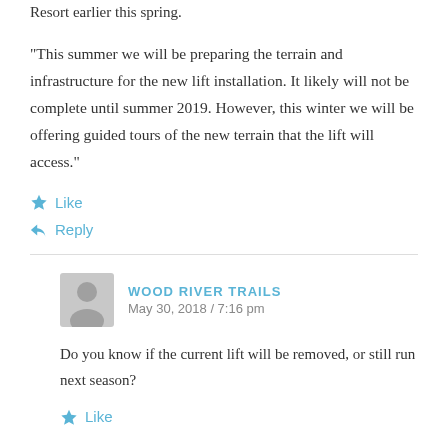Resort earlier this spring.
“This summer we will be preparing the terrain and infrastructure for the new lift installation. It likely will not be complete until summer 2019. However, this winter we will be offering guided tours of the new terrain that the lift will access.”
★ Like
↩ Reply
WOOD RIVER TRAILS
May 30, 2018 / 7:16 pm
Do you know if the current lift will be removed, or still run next season?
★ Like